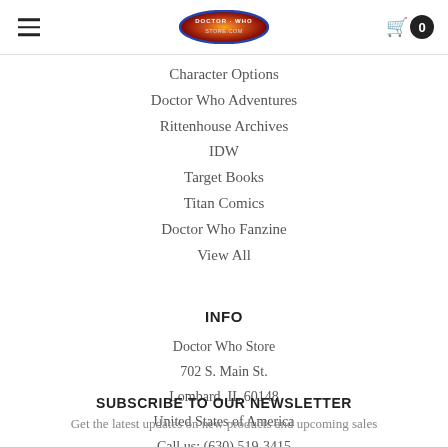Doctor Who Store — navigation header with logo and cart
Character Options
Doctor Who Adventures
Rittenhouse Archives
IDW
Target Books
Titan Comics
Doctor Who Fanzine
View All
INFO
Doctor Who Store
702 S. Main St.
Lombard, IL 60148
United States of America
Call us: (630) 519-3415
SUBSCRIBE TO OUR NEWSLETTER
Get the latest updates on new products and upcoming sales